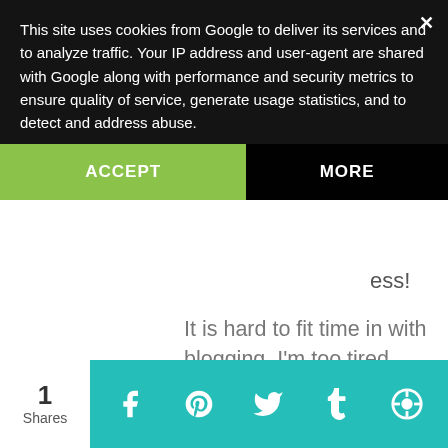This site uses cookies from Google to deliver its services and to analyze traffic. Your IP address and user-agent are shared with Google along with performance and security metrics to ensure quality of service, generate usage statistics, and to detect and address abuse.
ACCEPT
MORE
It is hard to fit time in with blogging, I'm too tired usually , I work during the school year..so the sewing pile gets higher and not touched to often..ha! Have a great day lovely!
1 Shares